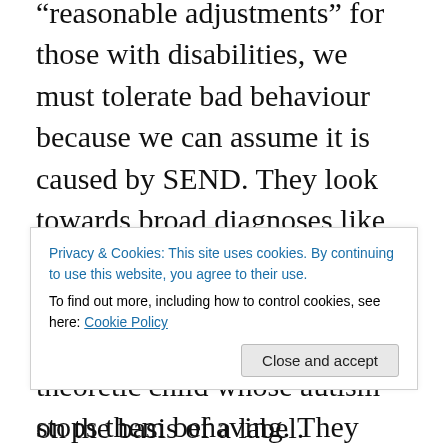“reasonable adjustments” for those with disabilities, we must tolerate bad behaviour because we can assume it is caused by SEND. They look towards broad diagnoses like Autistic Spectrum Disorder and claim that almost any school rule is unfair to a theoretic child whose autism stops them behaving. They also argue that almost any demand, no matter how insane, is a reasonable adjustment and, therefore, teachers who disagree are breaking the law. The SEND Code Of Practice, by contrast, is clear, that nothing done to include those with SEND should come at the sufficient detriment of the... that behaviour, not tolerate it on the basis of a label.
Privacy & Cookies: This site uses cookies. By continuing to use this website, you agree to their use.
To find out more, including how to control cookies, see here: Cookie Policy
Close and accept